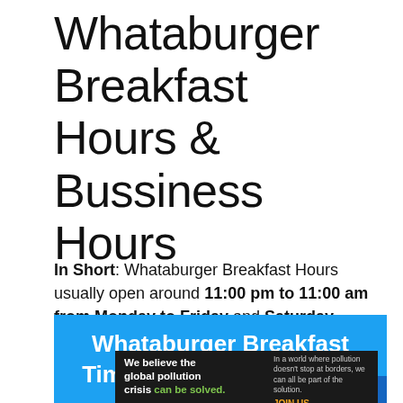Whataburger Breakfast Hours & Bussiness Hours
In Short: Whataburger Breakfast Hours usually open around 11:00 pm to 11:00 am from Monday to Friday and Saturday, Sunday Hours are 11:00 pm to 11:00 am.
[Figure (infographic): Blue banner with white bold text reading 'Whataburger Breakfast Time, Today & Tomorrow']
[Figure (infographic): Advertisement banner for Pure Earth organization with dark background, white text 'We believe the global pollution crisis can be solved.' and Pure Earth logo on right.]